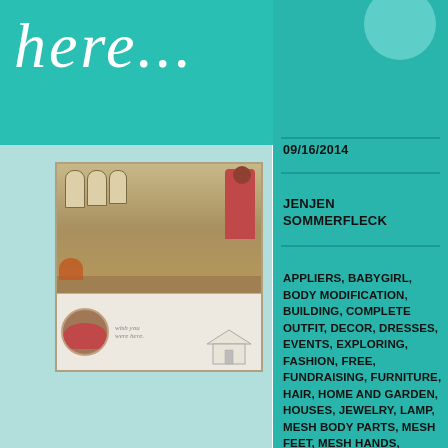here...
09/16/2014
JENJEN SOMMERFLECK
APPLIERS, BABYGIRL, BODY MODIFICATION, BUILDING, COMPLETE OUTFIT, DECOR, DRESSES, EVENTS, EXPLORING, FASHION, FREE, FUNDRAISING, FURNITURE, HAIR, HOME AND GARDEN, HOUSES, JEWELRY, LAMP, MESH BODY PARTS, MESH FEET, MESH HANDS, POSES, PROPS, REDNECK, SALE,
[Figure (photo): Blog post collage image showing an interior room scene with arched windows, flowers, and a figure, plus a lower strip with a circular portrait and a sketch of a house with 'wish you were here' text]